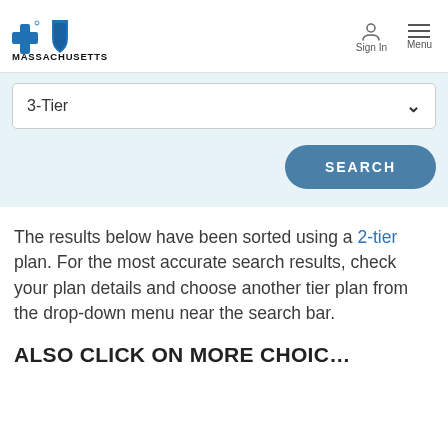Blue Cross Blue Shield Massachusetts — Sign In | Menu
[Figure (logo): Blue Cross Blue Shield Massachusetts logo with blue cross and shield icons above the word MASSACHUSETTS]
3-Tier (dropdown selection)
SEARCH (button)
The results below have been sorted using a 2-tier plan. For the most accurate search results, check your plan details and choose another tier plan from the drop-down menu near the search bar.
ALSO CLICK ON MORE CHOIC…